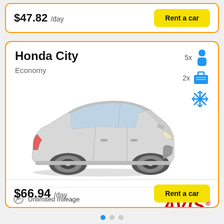$47.82 /day
Rent a car
Honda City
Economy
[Figure (illustration): Silver/grey Honda City sedan car, side-front 3/4 view]
5x passengers
2x luggage
Air conditioning (snowflake icon)
Unlimited mileage
Airport fee
[Figure (logo): AVIS car rental logo in red italic bold text]
$66.94 /day
Rent a car